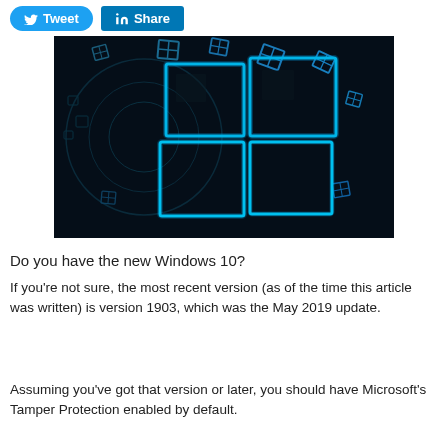[Figure (screenshot): Social media sharing buttons: blue Twitter Tweet button and blue LinkedIn Share button]
[Figure (illustration): Windows 10 logo with glowing blue neon squares on a dark black background, with multiple windows logos scattered around]
Do you have the new Windows 10?
If you're not sure, the most recent version (as of the time this article was written) is version 1903, which was the May 2019 update.
Assuming you've got that version or later, you should have Microsoft's Tamper Protection enabled by default.